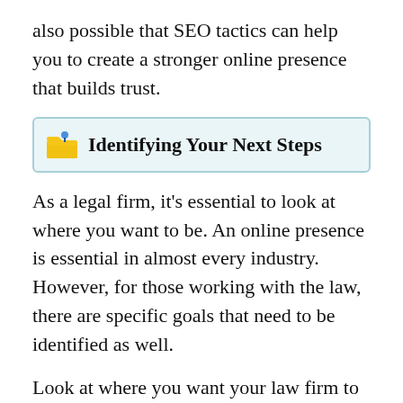also possible that SEO tactics can help you to create a stronger online presence that builds trust.
Identifying Your Next Steps
As a legal firm, it's essential to look at where you want to be. An online presence is essential in almost every industry. However, for those working with the law, there are specific goals that need to be identified as well.
Look at where you want your law firm to stand in five or ten years. This includes how